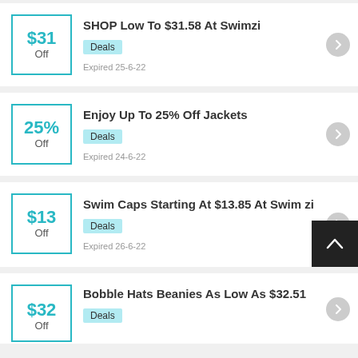SHOP Low To $31.58 At Swimzi — $31 Off — Deals — Expired 25-6-22
Enjoy Up To 25% Off Jackets — 25% Off — Deals — Expired 24-6-22
Swim Caps Starting At $13.85 At Swimzi — $13 Off — Deals — Expired 26-6-22
Bobble Hats Beanies As Low As $32.51 — $32 Off — Deals